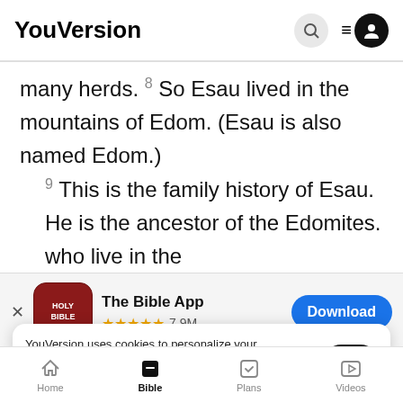YouVersion
many herds. 8 So Esau lived in the mountains of Edom. (Esau is also named Edom.) 9 This is the family history of Esau. He is the ancestor of the Edomites. who live in the
[Figure (screenshot): The Bible App download banner with app icon, 5-star rating of 7.9M, and Download button]
Esau, a
11 Eli
YouVersion uses cookies to personalize your experience. By using our website, you accept our use of cookies as described in our Privacy Policy.
Home  Bible  Plans  Videos